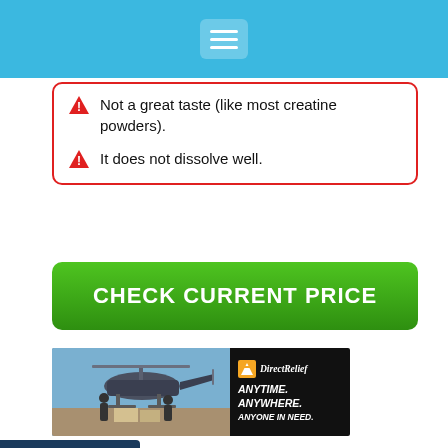[Figure (screenshot): Blue navigation bar with hamburger menu icon]
Not a great taste (like most creatine powders).
It does not dissolve well.
[Figure (screenshot): Green button labeled CHECK CURRENT PRICE]
[Figure (photo): Direct Relief advertisement banner showing helicopter loading supplies and DirectRelief logo with tagline ANYTIME. ANYWHERE. ANYONE IN NEED.]
[Figure (screenshot): Infolinks ad label bar, and BitLife GOD MODE advertisement banner below]